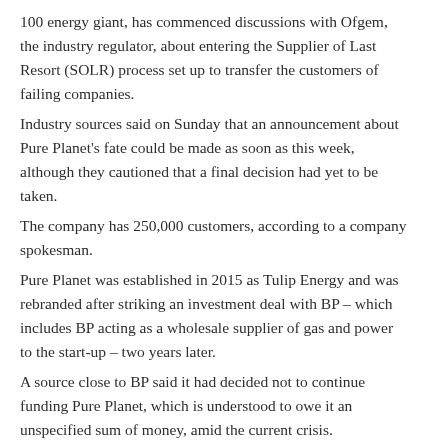100 energy giant, has commenced discussions with Ofgem, the industry regulator, about entering the Supplier of Last Resort (SOLR) process set up to transfer the customers of failing companies.
Industry sources said on Sunday that an announcement about Pure Planet's fate could be made as soon as this week, although they cautioned that a final decision had yet to be taken.
The company has 250,000 customers, according to a company spokesman.
Pure Planet was established in 2015 as Tulip Energy and was rebranded after striking an investment deal with BP – which includes BP acting as a wholesale supplier of gas and power to the start-up – two years later.
A source close to BP said it had decided not to continue funding Pure Planet, which is understood to owe it an unspecified sum of money, amid the current crisis.
It was unclear this weekend whether the small supplier was in any talks about alternative means of continuing to fund itself that could preserve its future.
□Facebook□